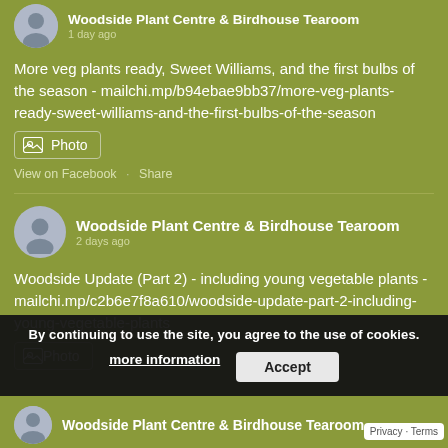Woodside Plant Centre & Birdhouse Tearoom
1 day ago
More veg plants ready, Sweet Williams, and the first bulbs of the season - mailchi.mp/b94ebae9bb37/more-veg-plants-ready-sweet-williams-and-the-first-bulbs-of-the-season
[Figure (screenshot): Photo button with image icon]
View on Facebook · Share
Woodside Plant Centre & Birdhouse Tearoom
2 days ago
Woodside Update (Part 2) - including young vegetable plants - mailchi.mp/c2b6e7f8a610/woodside-update-part-2-including-young-vegetable-plants
[Figure (screenshot): Photo button with image icon]
By continuing to use the site, you agree to the use of cookies.
more information
Accept
Privacy · Terms
Woodside Plant Centre & Birdhouse Tearoom